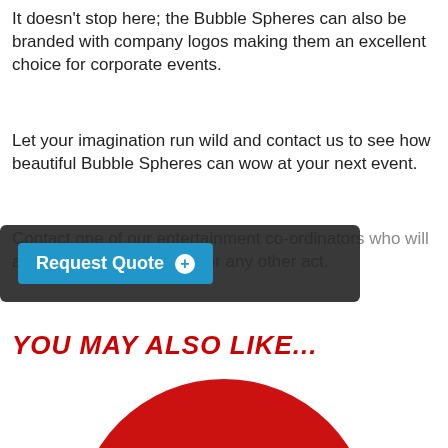It doesn’t stop here; the Bubble Spheres can also be branded with company logos making them an excellent choice for corporate events.
Let your imagination run wild and contact us to see how beautiful Bubble Spheres can wow at your next event.
Contact one of our entertainment co-ordinators who will assist you in booking this or any other act.
[Figure (screenshot): Dark overlay box containing a blue 'Request Quote +' button]
YOU MAY ALSO LIKE...
[Figure (illustration): Large red circle/donut shape partially visible at bottom of page, partially cropped]